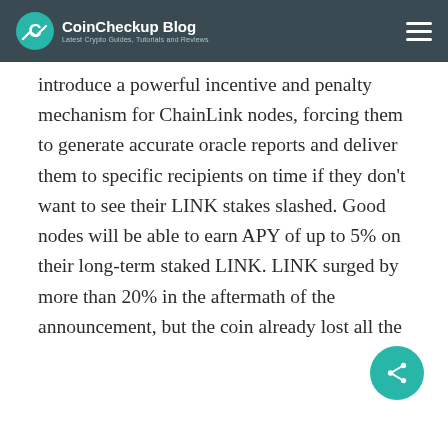CoinCheckup Blog — Latest Crypto Guides, Tutorials and Reviews
introduce a powerful incentive and penalty mechanism for ChainLink nodes, forcing them to generate accurate oracle reports and deliver them to specific recipients on time if they don't want to see their LINK stakes slashed. Good nodes will be able to earn APY of up to 5% on their long-term staked LINK. LINK surged by more than 20% in the aftermath of the announcement, but the coin already lost all the